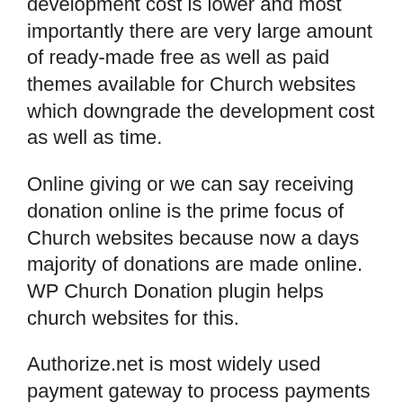development cost is lower and most importantly there are very large amount of ready-made free as well as paid themes available for Church websites which downgrade the development cost as well as time.
Online giving or we can say receiving donation online is the prime focus of Church websites because now a days majority of donations are made online. WP Church Donation plugin helps church websites for this.
Authorize.net is most widely used payment gateway to process payments online and accepts Visa, MasterCard, Discover and other variants of cards and best option to receive payment online. Install WP Church Donation Plugin and get started to accept donations through Authorize.net with ease.
WP Church Donation plugin features: